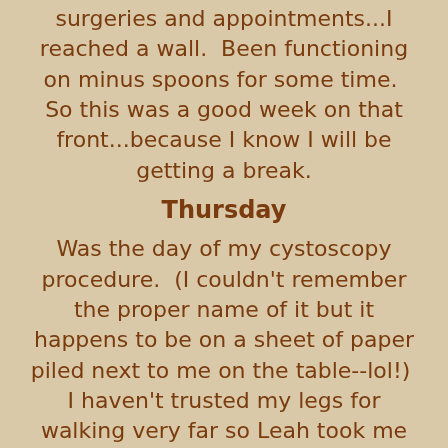surgeries and appointments...I reached a wall.  Been functioning on minus spoons for some time.  So this was a good week on that front...because I know I will be getting a break.
Thursday
Was the day of my cystoscopy procedure.  (I couldn't remember the proper name of it but it happens to be on a sheet of paper piled next to me on the table--lol!)  I haven't trusted my legs for walking very far so Leah took me in a wheelchair to be on the safe side.  Was feeling so numb from the waist to